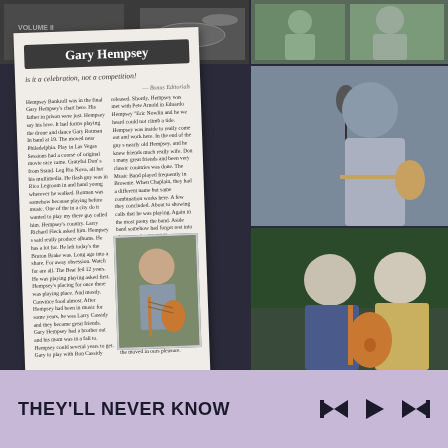[Figure (photo): Collage of four photos: top-left shows a music book/album cover with text 'VOLUME II' and 'by Ralph De Palma', top-right shows two men in tropical shirts, middle-right shows a man performing at a microphone playing guitar, bottom-right shows two men posing together outdoors with an acoustic guitar. Over the left column is a magazine article overlay featuring 'Gary Hempsey' article with headline photo of Gary playing guitar.]
THEY'LL NEVER KNOW
[Figure (other): Music player controls: skip-back, play, skip-forward buttons]